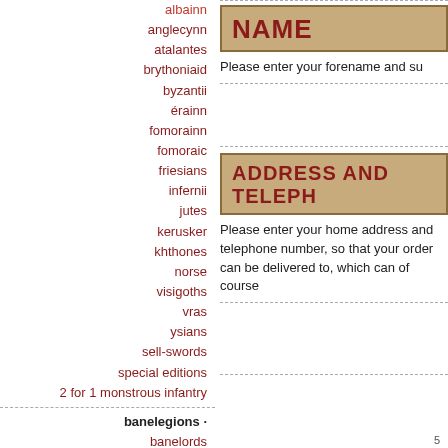albainn
anglecynn
atalantes
brythoniaid
byzantii
érainn
fomorainn
fomoraic
friesians
infernii
jutes
kerusker
khthones
norse
visigoths
vras
ysians
sell-swords
special editions
2 for 1 monstrous infantry
banelegions ·
banelords
banebeasts
components ·
darklands components
banelegions components
in stock miscast packs
advance order miscast packs
metal bits packs
component packs
NAME
Please enter your forename and su
ADDRESS AND TELEPH
Please enter your home address and telephone number, so that your order can be delivered to, which can of course
5